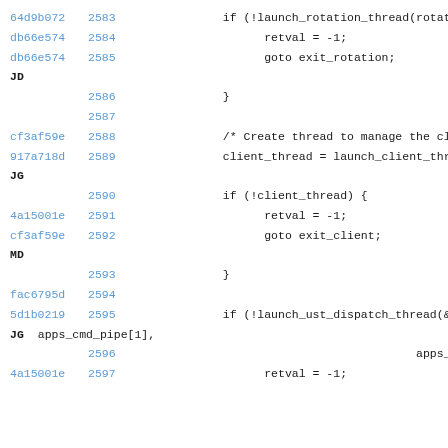[Figure (screenshot): Source code diff view showing lines 2583-2597 with git hashes, line numbers, and C code including launch_rotation_thread, retval assignments, goto statements, client_thread, launch_client_thread, and launch_ust_dispatch_thread calls]